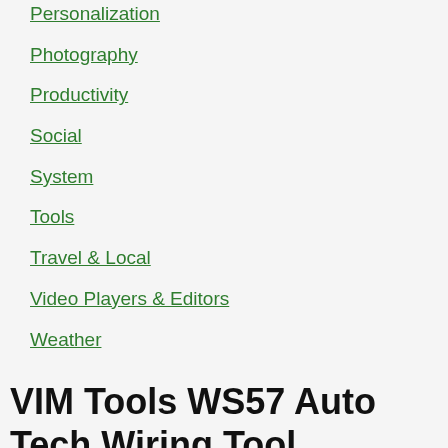Personalization
Photography
Productivity
Social
System
Tools
Travel & Local
Video Players & Editors
Weather
VIM Tools WS57 Auto Tech Wiring Tool
Cloudkids 2 Pack Baby Diaper Skirt, Toddler Baby Girls Potty Training Skirt Cotton Washable Toilet Training